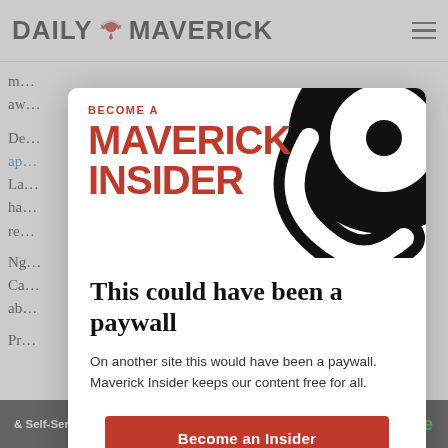DAILY MAVERICK
m... aw...
De... ap... La... ha... re...
Ng... Ca... ab...
Pr...
[Figure (illustration): Maverick Insider promotional modal overlay with 'BECOME A MAVERICK INSIDER' branding in red text on white background, decorative black swirl graphic top-right, headline 'This could have been a paywall', descriptive text, and red 'Become an Insider' button]
This could have been a paywall
On another site this would have been a paywall. Maverick Insider keeps our content free for all.
& Self-Service software    sage